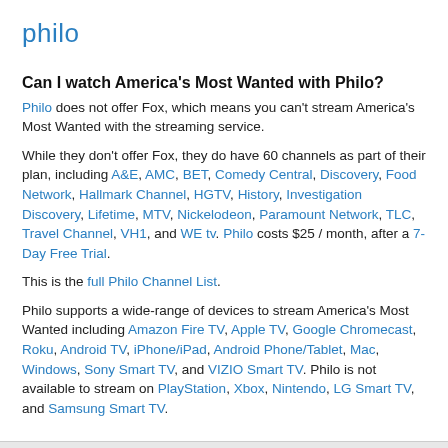philo
Can I watch America's Most Wanted with Philo?
Philo does not offer Fox, which means you can't stream America's Most Wanted with the streaming service.
While they don't offer Fox, they do have 60 channels as part of their plan, including A&E, AMC, BET, Comedy Central, Discovery, Food Network, Hallmark Channel, HGTV, History, Investigation Discovery, Lifetime, MTV, Nickelodeon, Paramount Network, TLC, Travel Channel, VH1, and WE tv. Philo costs $25 / month, after a 7-Day Free Trial.
This is the full Philo Channel List.
Philo supports a wide-range of devices to stream America's Most Wanted including Amazon Fire TV, Apple TV, Google Chromecast, Roku, Android TV, iPhone/iPad, Android Phone/Tablet, Mac, Windows, Sony Smart TV, and VIZIO Smart TV. Philo is not available to stream on PlayStation, Xbox, Nintendo, LG Smart TV, and Samsung Smart TV.